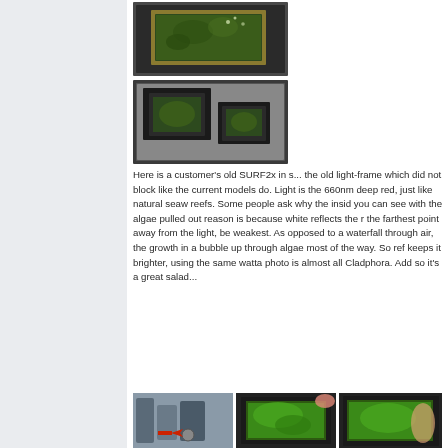[Figure (photo): Two stacked photos of SURF2x algae scrubber units with dark frames sitting on a surface, showing green algae growth inside.]
Here is a customer's old SURF2x in s... the old light-frame which did not block like the current models do. Light is the 660nm deep red, just like natural seaw reefs. Some people ask why the insid you can see with the algae pulled out reason is because white reflects the r the farthest point away from the light, be weakest. As opposed to a waterfall through air, the growth in a bubble up through algae most of the way. So ref keeps it brighter, using the same watta photo is almost all Cladphora. Add so it's a great salad...
[Figure (photo): Three bottom photos showing algae scrubber setups and green algae growth in frames.]